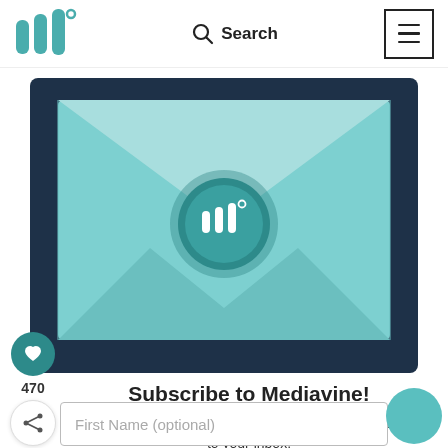[Figure (logo): Mediavine logo — three teal bar shapes with a degree symbol]
Search
[Figure (illustration): A teal envelope with a wax seal bearing the Mediavine logo, sitting on a dark navy background]
[Figure (other): Heart/like button with count 470 and share icon on the left sidebar]
Subscribe to Mediavine!
Get the best in content creator education delivered straight to your inbox.
First Name (optional)